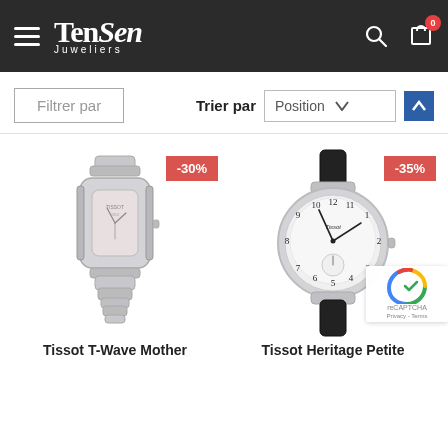TenSen Juweliers
Filtrer par
Trier par  Position
[Figure (photo): Silver Tissot T-Wave Mother watch with bracelet, -30% discount badge]
[Figure (photo): Tissot Heritage Petite watch with black leather strap, -35% discount badge]
Tissot T-Wave Mother
Tissot Heritage Petite